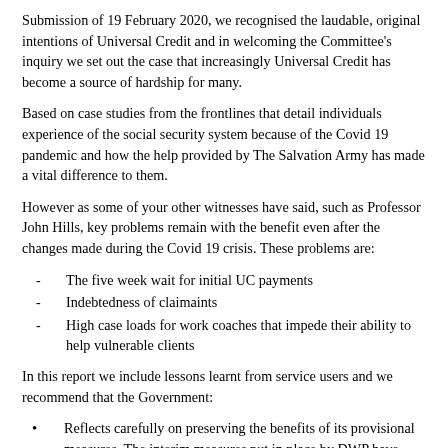Submission of 19 February 2020, we recognised the laudable, original intentions of Universal Credit and in welcoming the Committee's inquiry we set out the case that increasingly Universal Credit has become a source of hardship for many.
Based on case studies from the frontlines that detail individuals experience of the social security system because of the Covid 19 pandemic and how the help provided by The Salvation Army has made a vital difference to them.
However as some of your other witnesses have said, such as Professor John Hills, key problems remain with the benefit even after the changes made during the Covid 19 crisis. These problems are:
The five week wait for initial UC payments
Indebtedness of claimaints
High case loads for work coaches that impede their ability to help vulnerable clients
In this report we include lessons learnt from service users and we recommend that the Government:
Reflects carefully on preserving the benefits of its provisional measures. The interim measures put in place by DWP have worked, however if in future they are withdrawn people will slip back into difficulty. The measures need to be retained so any future decisions need to be subject to an Impact Assessment or Parliamentary